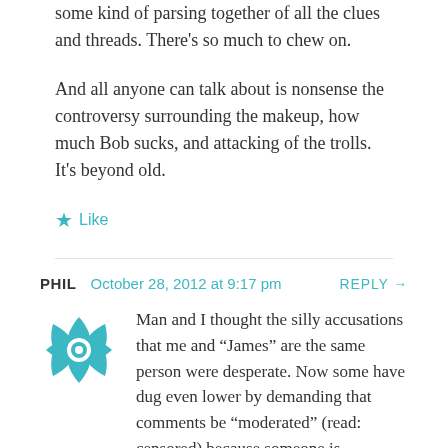some kind of parsing together of all the clues and threads. There's so much to chew on.
And all anyone can talk about is nonsense the controversy surrounding the makeup, how much Bob sucks, and attacking of the trolls. It's beyond old.
Like
PHIL   October 28, 2012 at 9:17 pm   REPLY →
Man and I thought the silly accusations that me and “James” are the same person were desperate. Now some have dug even lower by demanding that comments be “moderated” (read: censored) because someone is questioning white supremacy in Hollywood and